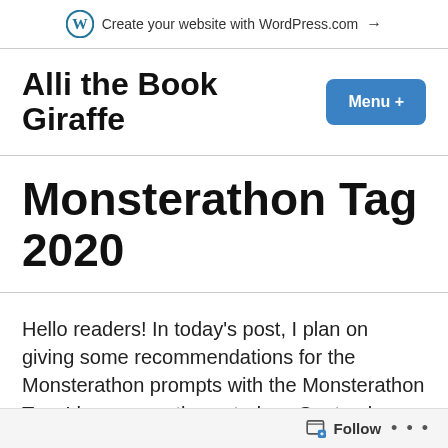Create your website with WordPress.com →
Alli the Book Giraffe
Monsterathon Tag 2020
Hello readers! In today's post, I plan on giving some recommendations for the Monsterathon prompts with the Monsterathon Tag. I have recently posted my September TBR so I thought it would be the perfect time to do this tag. I tried my best to give the most diverse set of authors and characters that I could. The Monsterathon and the tag were created
Follow ...